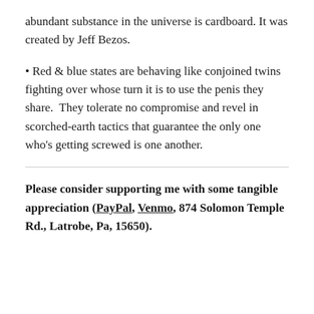abundant substance in the universe is cardboard. It was created by Jeff Bezos.
• Red & blue states are behaving like conjoined twins fighting over whose turn it is to use the penis they share.  They tolerate no compromise and revel in scorched-earth tactics that guarantee the only one who's getting screwed is one another.
Please consider supporting me with some tangible appreciation (PayPal, Venmo, 874 Solomon Temple Rd., Latrobe, Pa, 15650).